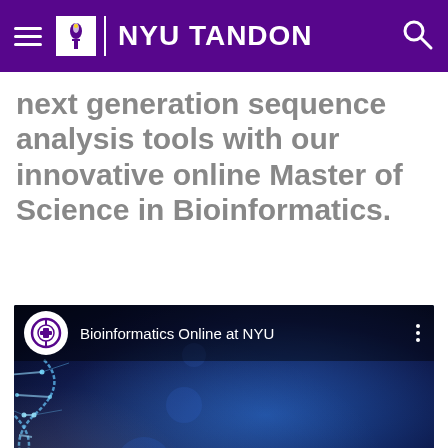NYU TANDON
next generation sequence analysis tools with our innovative online Master of Science in Bioinformatics.
[Figure (screenshot): YouTube-style video thumbnail for 'Bioinformatics Online at NYU' featuring a glowing blue digital DNA helix with a hand reaching toward it, and a channel icon with the channel name at top.]